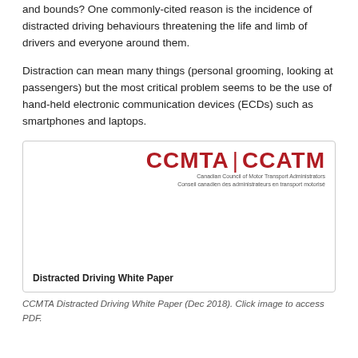and bounds? One commonly-cited reason is the incidence of distracted driving behaviours threatening the life and limb of drivers and everyone around them.
Distraction can mean many things (personal grooming, looking at passengers) but the most critical problem seems to be the use of hand-held electronic communication devices (ECDs) such as smartphones and laptops.
[Figure (screenshot): CCMTA Distracted Driving White Paper document cover page showing CCMTA|CCATM logo and document title]
CCMTA Distracted Driving White Paper (Dec 2018). Click image to access PDF.